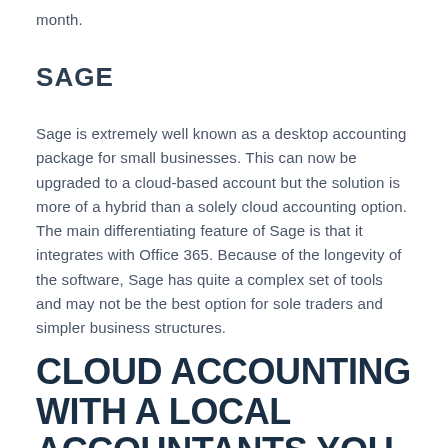month.
SAGE
Sage is extremely well known as a desktop accounting package for small businesses. This can now be upgraded to a cloud-based account but the solution is more of a hybrid than a solely cloud accounting option. The main differentiating feature of Sage is that it integrates with Office 365. Because of the longevity of the software, Sage has quite a complex set of tools and may not be the best option for sole traders and simpler business structures.
CLOUD ACCOUNTING WITH A LOCAL ACCOUNTANTS YOU CAN TRUST